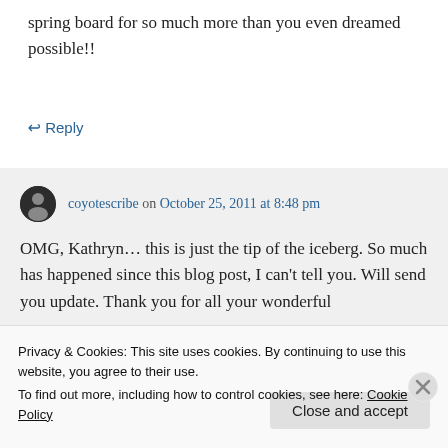spring board for so much more than you even dreamed possible!!
↳ Reply
coyotescribe on October 25, 2011 at 8:48 pm
OMG, Kathryn... this is just the tip of the iceberg. So much has happened since this blog post, I can't tell you. Will send you update. Thank you for all your wonderful
Privacy & Cookies: This site uses cookies. By continuing to use this website, you agree to their use.
To find out more, including how to control cookies, see here: Cookie Policy
Close and accept